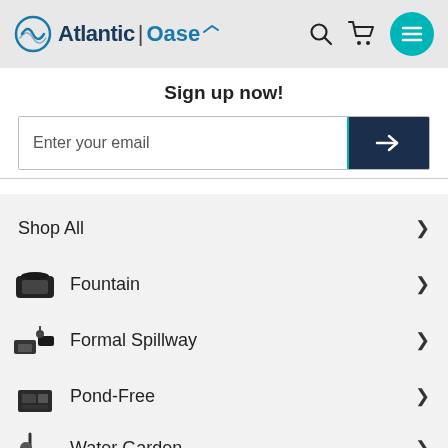[Figure (logo): Atlantic Oase logo with spiral icon, search icon, cart icon, and teal hamburger menu button]
Sign up now!
[Figure (screenshot): Email input field with dark navy submit button and right arrow]
Shop All
Fountain
Formal Spillway
Pond-Free
Water Garden